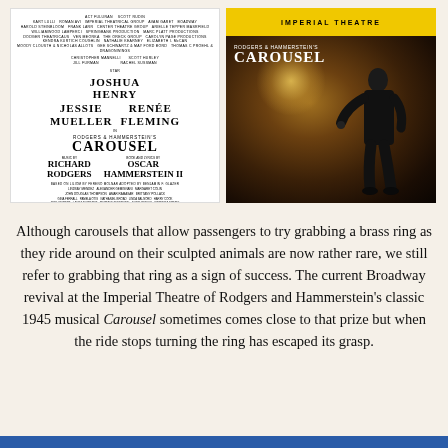[Figure (illustration): Playbill cover for Rodgers & Hammerstein's Carousel featuring Joshua Henry, Jessie Mueller, Renée Fleming, music by Richard Rodgers, book and lyrics by Oscar Hammerstein II, choreographed by Justin Peck, directed by Jack O'Brien]
[Figure (photo): Theatrical poster for Carousel at the Imperial Theatre with a dark dramatic image of a performer on stage, yellow bar at top with 'IMPERIAL THEATRE' text, title 'RODGERS & HAMMERSTEIN'S CAROUSEL' overlaid on image]
Although carousels that allow passengers to try grabbing a brass ring as they ride around on their sculpted animals are now rather rare, we still refer to grabbing that ring as a sign of success. The current Broadway revival at the Imperial Theatre of Rodgers and Hammerstein's classic 1945 musical Carousel sometimes comes close to that prize but when the ride stops turning the ring has escaped its grasp.